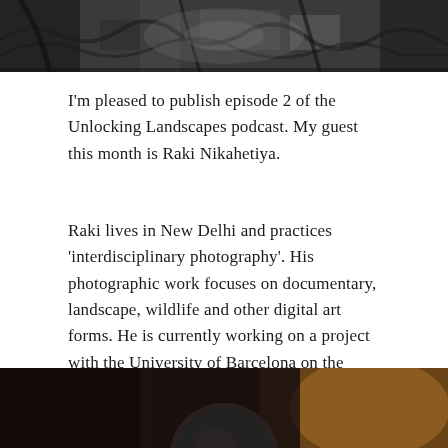[Figure (photo): Black and white photograph of tree roots and forest floor, cropped at the top of the page]
I'm pleased to publish episode 2 of the Unlocking Landscapes podcast. My guest this month is Raki Nikahetiya.
Raki lives in New Delhi and practices 'interdisciplinary photography'. His photographic work focuses on documentary, landscape, wildlife and other digital art forms. He is currently working on a project with the University of Barcelona on the subject of… cave paintings and petri dishes!
[Figure (photo): Portrait photograph of a person (Raki Nikahetiya), warm toned background, top of head visible, cropped at the bottom of the page]